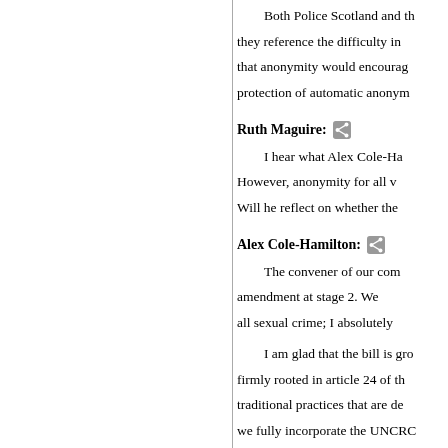Both Police Scotland and th... they reference the difficulty in... that anonymity would encourage... protection of automatic anonym...
Ruth Maguire: I hear what Alex Cole-Ha... However, anonymity for all v... Will he reflect on whether the...
Alex Cole-Hamilton: The convener of our com... amendment at stage 2. We... all sexual crime; I absolutely...
I am glad that the bill is gro... firmly rooted in article 24 of th... traditional practices that are de... we fully incorporate the UNCRC... real in that context. In striving... children's rights from the back o...
Government, Parliament and... is also about public participatio... towards the education of gi... embarrassment—for whatever... need to talk about these issu... atmosphere of consensus tha...